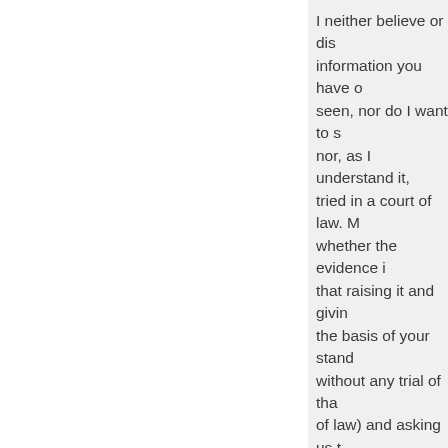I neither believe or disbelieve the information you have obviously seen, nor do I want to see it, nor, as I understand it, has it been tried in a court of law. My concern is whether the evidence is true, not that raising it and giving it publicity on the basis of your standpoint (and without any trial of that in a court of law) and asking us to dissociate ourselves from it, seems to score an own goal for the reason...
If I have inadvertently called it an 'allegation' I will of course withdraw the comment and apologise. I don't want to pick a fight.
I agree with your thesis that... "The history of ME rem... worst examples of una...